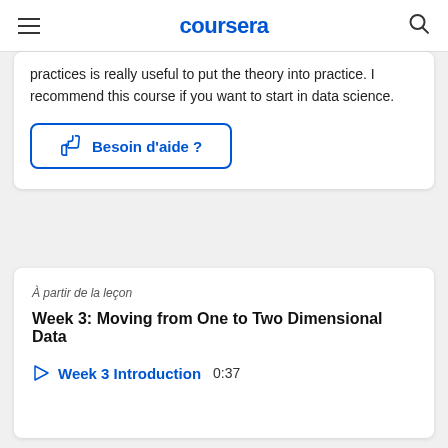coursera
practices is really useful to put the theory into practice. I recommend this course if you want to start in data science.
[Figure (other): Button with thumbs up icon and text 'Besoin d'aide ?']
À partir de la leçon
Week 3: Moving from One to Two Dimensional Data
Week 3 Introduction  0:37